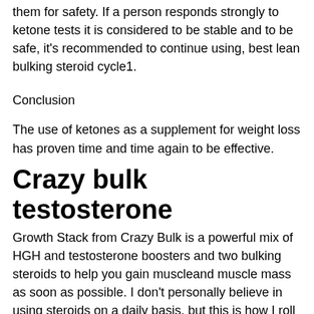them for safety. If a person responds strongly to ketone tests it is considered to be stable and to be safe, it's recommended to continue using, best lean bulking steroid cycle1.
Conclusion
The use of ketones as a supplement for weight loss has proven time and time again to be effective.
Crazy bulk testosterone
Growth Stack from Crazy Bulk is a powerful mix of HGH and testosterone boosters and two bulking steroids to help you gain muscleand muscle mass as soon as possible. I don't personally believe in using steroids on a daily basis, but this is how I roll with it. This is one of the only ways a person can increase muscle mass, testo max for sale.